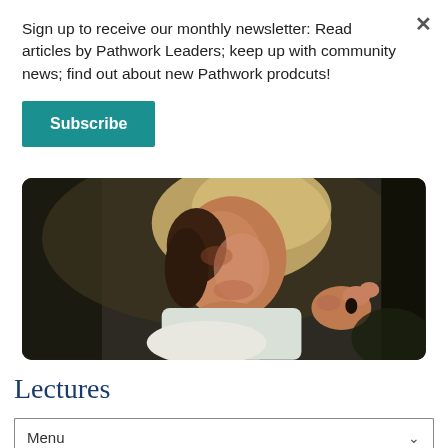Sign up to receive our monthly newsletter: Read articles by Pathwork Leaders; keep up with community news; find out about new Pathwork prodcuts!
Subscribe
[Figure (photo): Close-up photograph of a woman with dark hair wearing a light-colored head covering, looking upward with a slight smile, hand raised near her chin. Background is dark and blurred.]
Lectures
Menu